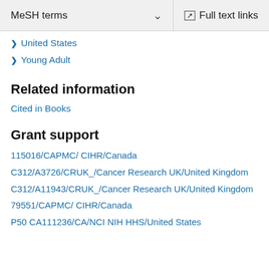MeSH terms   Full text links
United States
Young Adult
Related information
Cited in Books
Grant support
115016/CAPMC/ CIHR/Canada
C312/A3726/CRUK_/Cancer Research UK/United Kingdom
C312/A11943/CRUK_/Cancer Research UK/United Kingdom
79551/CAPMC/ CIHR/Canada
P50 CA111236/CA/NCI NIH HHS/United States